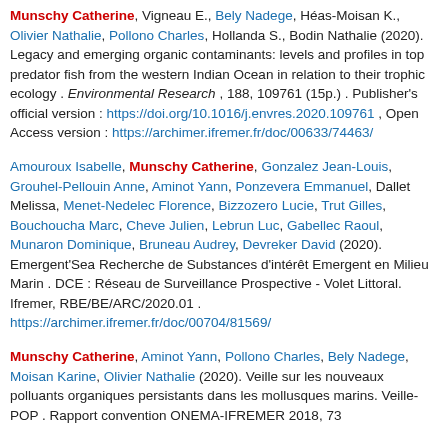Munschy Catherine, Vigneau E., Bely Nadege, Héas-Moisan K., Olivier Nathalie, Pollono Charles, Hollanda S., Bodin Nathalie (2020). Legacy and emerging organic contaminants: levels and profiles in top predator fish from the western Indian Ocean in relation to their trophic ecology . Environmental Research , 188, 109761 (15p.) . Publisher's official version : https://doi.org/10.1016/j.envres.2020.109761 , Open Access version : https://archimer.ifremer.fr/doc/00633/74463/
Amouroux Isabelle, Munschy Catherine, Gonzalez Jean-Louis, Grouhel-Pellouin Anne, Aminot Yann, Ponzevera Emmanuel, Dallet Melissa, Menet-Nedelec Florence, Bizzozero Lucie, Trut Gilles, Bouchoucha Marc, Cheve Julien, Lebrun Luc, Gabellec Raoul, Munaron Dominique, Bruneau Audrey, Devreker David (2020). Emergent'Sea Recherche de Substances d'intérêt Emergent en Milieu Marin . DCE : Réseau de Surveillance Prospective - Volet Littoral. Ifremer, RBE/BE/ARC/2020.01 . https://archimer.ifremer.fr/doc/00704/81569/
Munschy Catherine, Aminot Yann, Pollono Charles, Bely Nadege, Moisan Karine, Olivier Nathalie (2020). Veille sur les nouveaux polluants organiques persistants dans les mollusques marins. Veille-POP . Rapport convention ONEMA-IFREMER 2018, 73